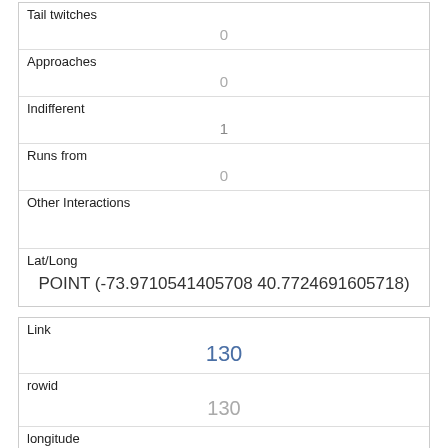| Tail twitches | 0 |
| Approaches | 0 |
| Indifferent | 1 |
| Runs from | 0 |
| Other Interactions |  |
| Lat/Long | POINT (-73.9710541405708 40.7724691605718) |
| Link | 130 |
| rowid | 130 |
| longitude | -73.95816559494371 |
| latitude | 40.7997708190002205 |